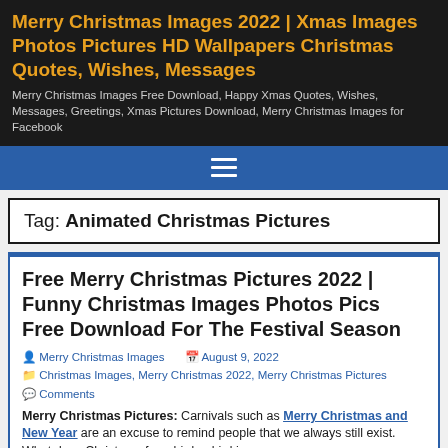Merry Christmas Images 2022 | Xmas Images Photos Pictures HD Wallpapers Christmas Quotes, Wishes, Messages
Merry Christmas Images Free Download, Happy Xmas Quotes, Wishes, Messages, Greetings, Xmas Pictures Download, Merry Christmas Images for Facebook
Tag: Animated Christmas Pictures
Free Merry Christmas Pictures 2022 | Funny Christmas Images Photos Pics Free Download For The Festival Season
Merry Christmas Images  August 9, 2022
Christmas Images, Merry Christmas 2022, Merry Christmas Pictures
Comments
Merry Christmas Pictures: Carnivals such as Merry Christmas and New Year are an excuse to remind people that we always still exist. What does Christmas for a bird, a bird is...